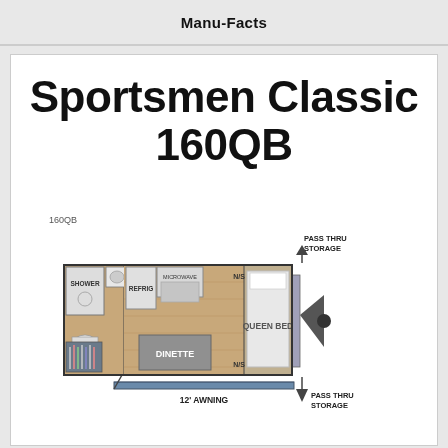Manu-Facts
Sportsmen Classic 160QB
[Figure (illustration): Floor plan diagram of the Sportsmen Classic 160QB travel trailer showing: SHOWER, REFRIG, MICROWAVE, DINETTE, QUEEN BED, N/S (nightstands), PASS THRU STORAGE (top and bottom), 12' AWNING]
12' AWNING